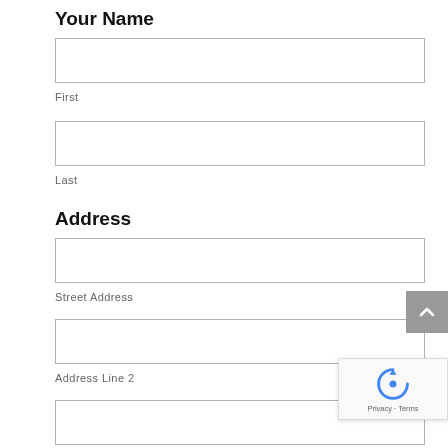Your Name
First
Last
Address
Street Address
Address Line 2
City